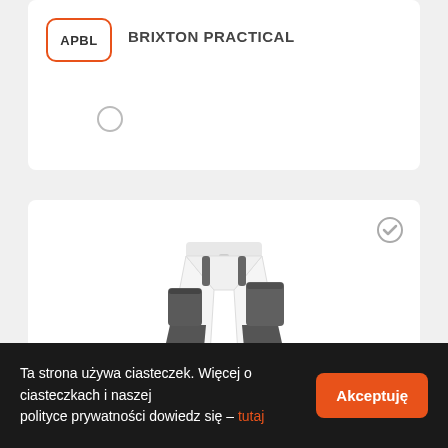APBL
BRIXTON PRACTICAL
[Figure (photo): White work shorts with dark grey/charcoal knee pockets and leg panels, orange brand patch on lower leg, worn with dark knee pad inserts]
Ta strona używa ciasteczek. Więcej o ciasteczkach i naszej polityce prywatności dowiedz się – tutaj
Akceptuję